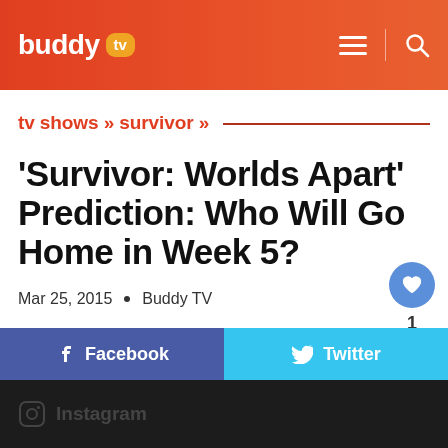buddy tv
tv shows » survivor »
'Survivor: Worlds Apart' Prediction: Who Will Go Home in Week 5?
Mar 25, 2015  •  Buddy TV
Facebook
Twitter